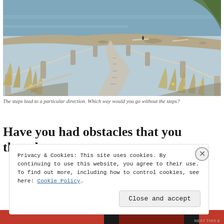[Figure (photo): Outdoor stairway with rope railings on wooden posts leading down toward a rocky shoreline and calm water. Dry grasses and small yellow wildflowers line the path. A curved beach with driftwood is visible in the background.]
The steps lead to a particular direction.  Which way would you go without the steps?
Have you had obstacles that you thought
Privacy & Cookies: This site uses cookies. By continuing to use this website, you agree to their use.
To find out more, including how to control cookies, see here: Cookie Policy